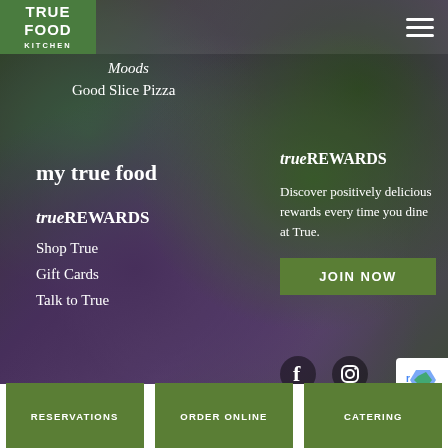[Figure (logo): True Food Kitchen green logo box with white bold text]
Moods
Good Slice Pizza
my true food
trueREWARDS
Shop True
Gift Cards
Talk to True
trueREWARDS
Discover positively delicious rewards every time you dine at True.
JOIN NOW
RESERVATIONS
ORDER ONLINE
CATERING